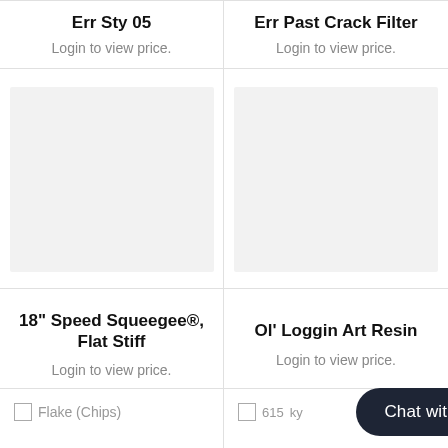Login to view price.
Login to view price.
[Figure (photo): Product image placeholder (light gray box) for 18" Speed Squeegee®, Flat Stiff]
[Figure (photo): Product image placeholder (light gray box) for Ol' Loggin Art Resin]
18" Speed Squeegee®, Flat Stiff
Login to view price.
Ol' Loggin Art Resin
Login to view price.
[Figure (photo): Broken image icon with label: Flake (Chips)]
[Figure (photo): Broken image icon partially visible (number 615...) and text ending in ...ky, with Chat with us button overlay]
Chat with us